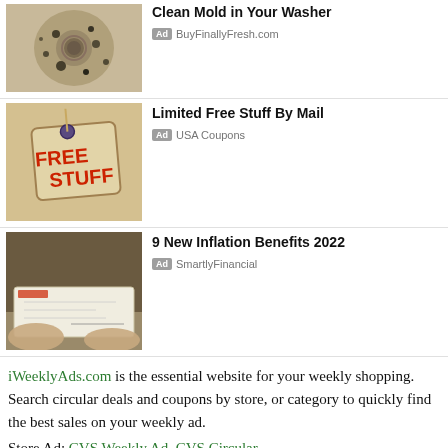[Figure (photo): Close-up photo of a moldy washer drum/gasket with black mold spots]
Clean Mold in Your Washer
Ad BuyFinallyFresh.com
[Figure (photo): Photo of a tag that reads FREE STUFF in red text]
Limited Free Stuff By Mail
Ad USA Coupons
[Figure (photo): Photo of hands holding a check/cheque]
9 New Inflation Benefits 2022
Ad SmartlyFinancial
iWeeklyAds.com is the essential website for your weekly shopping. Search circular deals and coupons by store, or category to quickly find the best sales on your weekly ad.
Store Ad: CVS Weekly Ad, CVS Circular